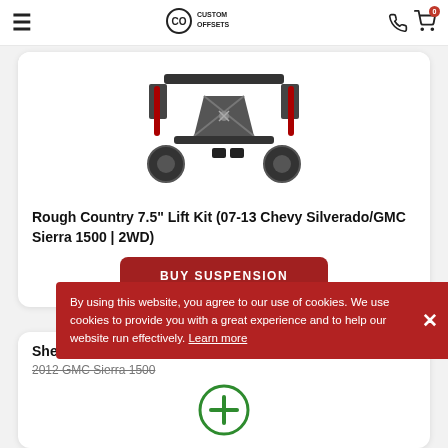Custom Offsets
[Figure (photo): Rough Country 7.5 inch lift kit components including brackets, shocks, and hardware]
Rough Country 7.5" Lift Kit (07-13 Chevy Silverado/GMC Sierra 1500 | 2WD)
BUY SUSPENSION
She... 2012 GMC Sierra 1500
[Figure (other): Green plus circle icon]
By using this website, you agree to our use of cookies. We use cookies to provide you with a great experience and to help our website run effectively. Learn more